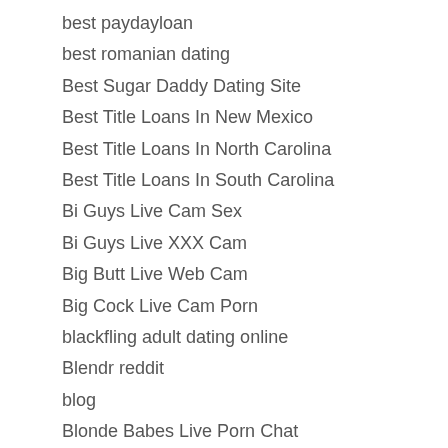best paydayloan
best romanian dating
Best Sugar Daddy Dating Site
Best Title Loans In New Mexico
Best Title Loans In North Carolina
Best Title Loans In South Carolina
Bi Guys Live Cam Sex
Bi Guys Live XXX Cam
Big Butt Live Web Cam
Big Cock Live Cam Porn
blackfling adult dating online
Blendr reddit
blog
Blonde Babes Live Porn Chat
Blonde Babes Live Web Cam Porn
Blonde Babes Live XXX Chat Rooms
blued search